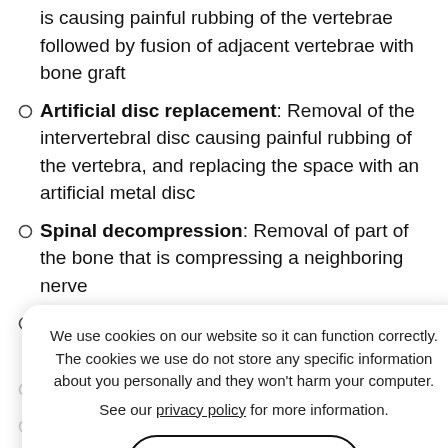is causing painful rubbing of the vertebrae followed by fusion of adjacent vertebrae with bone graft
Artificial disc replacement: Removal of the intervertebral disc causing painful rubbing of the vertebra, and replacing the space with an artificial metal disc
Spinal decompression: Removal of part of the bone that is compressing a neighboring nerve
Laminectomy: Removal of parts of bone, bone spurs or ligaments
Foraminotomy: Space through which nerve roots exit is widened by trimming bone at the sides of the vertebrae
Corpectomy: Removal of one or more vertebral
We use cookies on our website so it can function correctly. The cookies we use do not store any specific information about you personally and they won't harm your computer. See our privacy policy for more information.